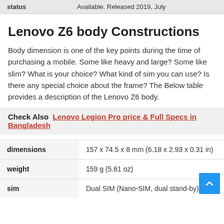| status |  |
| --- | --- |
| status | Available. Released 2019, July |
Lenovo Z6 body Constructions
Body dimension is one of the key points during the time of purchasing a mobile. Some like heavy and large? Some like slim? What is your choice? What kind of sim you can use? Is there any special choice about the frame? The Below table provides a description of the Lenovo Z6 body.
Check Also  Lenovo Legion Pro price & Full Specs in Bangladesh
|  |  |
| --- | --- |
| dimensions | 157 x 74.5 x 8 mm (6.18 x 2.93 x 0.31 in) |
| weight | 159 g (5.61 oz) |
| sim | Dual SIM (Nano-SIM, dual stand-by) |